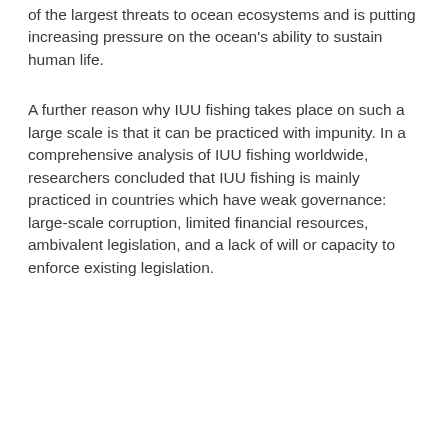of the largest threats to ocean ecosystems and is putting increasing pressure on the ocean's ability to sustain human life.
A further reason why IUU fishing takes place on such a large scale is that it can be practiced with impunity. In a comprehensive analysis of IUU fishing worldwide, researchers concluded that IUU fishing is mainly practiced in countries which have weak governance: large-scale corruption, limited financial resources, ambivalent legislation, and a lack of will or capacity to enforce existing legislation.